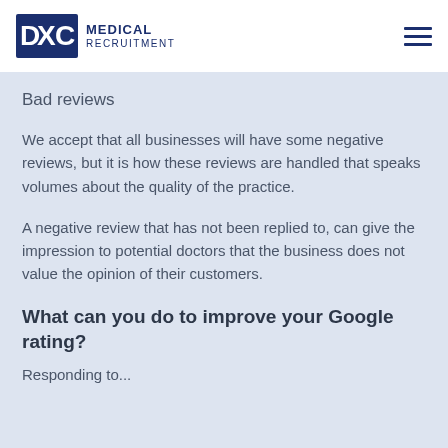DXC Medical Recruitment
Bad reviews
We accept that all businesses will have some negative reviews, but it is how these reviews are handled that speaks volumes about the quality of the practice.
A negative review that has not been replied to, can give the impression to potential doctors that the business does not value the opinion of their customers.
What can you do to improve your Google rating?
Responding to...